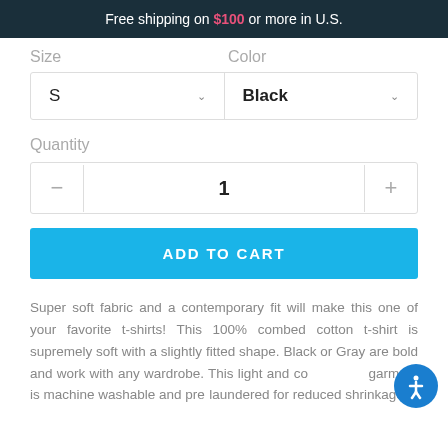Free shipping on $100 or more in U.S.
Size	Color
S	Black
Quantity
1
ADD TO CART
Super soft fabric and a contemporary fit will make this one of your favorite t-shirts! This 100% combed cotton t-shirt is supremely soft with a slightly fitted shape. Black or Gray are bold and work with any wardrobe. This light and comfortable garment is machine washable and pre-laundered for reduced shrinkage.